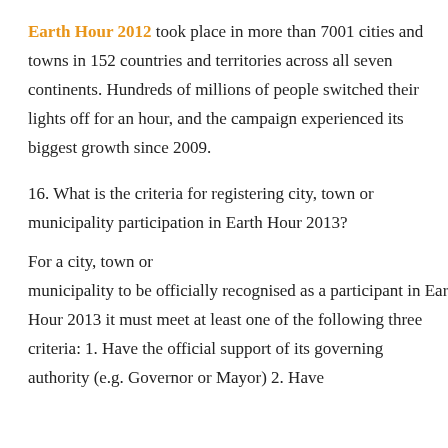Earth Hour 2012 took place in more than 7001 cities and towns in 152 countries and territories across all seven continents. Hundreds of millions of people switched their lights off for an hour, and the campaign experienced its biggest growth since 2009.
16. What is the criteria for registering city, town or municipality participation in Earth Hour 2013?
For a city, town or municipality to be officially recognised as a participant in Earth Hour 2013 it must meet at least one of the following three criteria: 1. Have the official support of its governing authority (e.g. Governor or Mayor) 2. Have